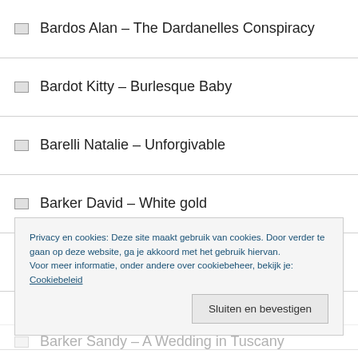Bardos Alan – The Dardanelles Conspiracy
Bardot Kitty – Burlesque Baby
Barelli Natalie – Unforgivable
Barker David – White gold
Barker David- Blue Gold
Barker Ellie – The Juggle
Privacy en cookies: Deze site maakt gebruik van cookies. Door verder te gaan op deze website, ga je akkoord met het gebruik hiervan. Voor meer informatie, onder andere over cookiebeheer, bekijk je: Cookiebeleid
Barker Sandy – A Wedding in Tuscany